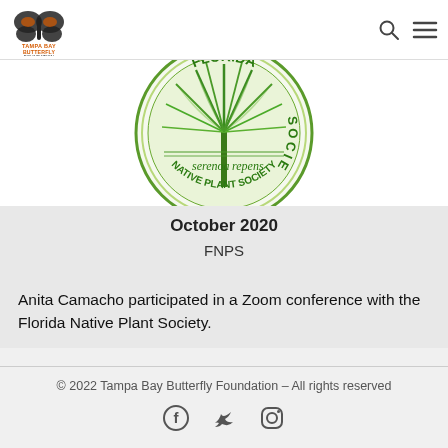Tampa Bay Butterfly Foundation
[Figure (logo): Florida Native Plant Society circular logo featuring a Serenoa repens (saw palmetto) plant with radiating fronds, text reading FLORIDA NATIVE PLANT SOCIETY and serenoa repens, surrounded by a green circular border on white background]
October 2020
FNPS
Anita Camacho participated in a Zoom conference with the Florida Native Plant Society.
© 2022 Tampa Bay Butterfly Foundation – All rights reserved